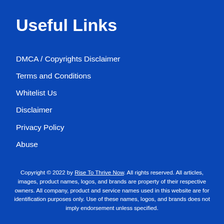Useful Links
DMCA / Copyrights Disclaimer
Terms and Conditions
Whitelist Us
Disclaimer
Privacy Policy
Abuse
Copyright © 2022 by Rise To Thrive Now. All rights reserved. All articles, images, product names, logos, and brands are property of their respective owners. All company, product and service names used in this website are for identification purposes only. Use of these names, logos, and brands does not imply endorsement unless specified.